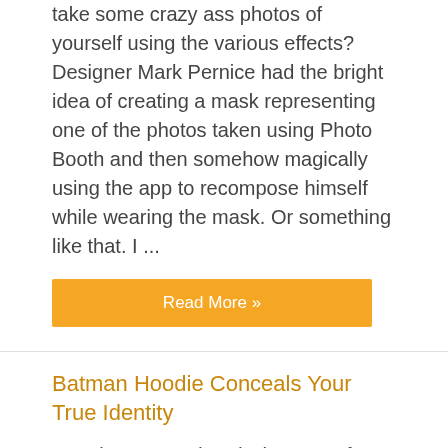take some crazy ass photos of yourself using the various effects? Designer Mark Pernice had the bright idea of creating a mask representing one of the photos taken using Photo Booth and then somehow magically using the app to recompose himself while wearing the mask. Or something like that. I ...
Read More »
Batman Hoodie Conceals Your True Identity
I've always wondered what sort of insulation the Batsuit is working with. Sure, it has a plethora of gadgets and goodies geared towards fighting the scum of the streets, but does it keep Batman warm on those chilly Gotham nights? I imagine punching a super-villain in the face is much more painful if your hands are freezing cold. The Batman ...